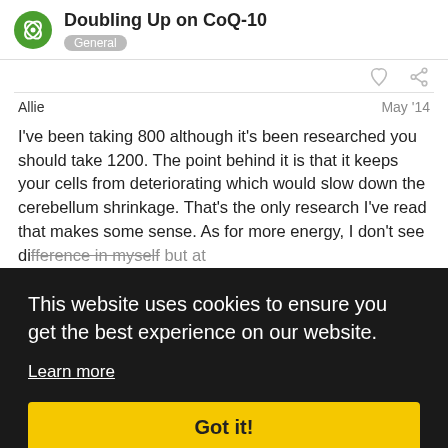Doubling Up on CoQ-10 General
Allie May '14
I've been taking 800 although it's been researched you should take 1200. The point behind it is that it keeps your cells from deteriorating which would slow down the cerebellum shrinkage. That's the only research I've read that makes some sense. As for more energy, I don't see difference in myself but at
This website uses cookies to ensure you get the best experience on our website. Learn more Got it!
rosei May '14 3/9